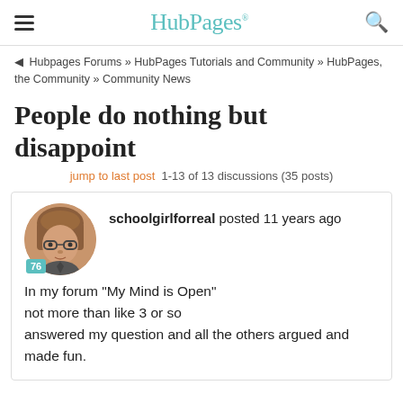HubPages
◀ Hubpages Forums » HubPages Tutorials and Community » HubPages, the Community » Community News
People do nothing but disappoint
jump to last post  1-13 of 13 discussions (35 posts)
schoolgirlforreal posted 11 years ago
In my forum "My Mind is Open" not more than like 3 or so answered my question and all the others argued and made fun.